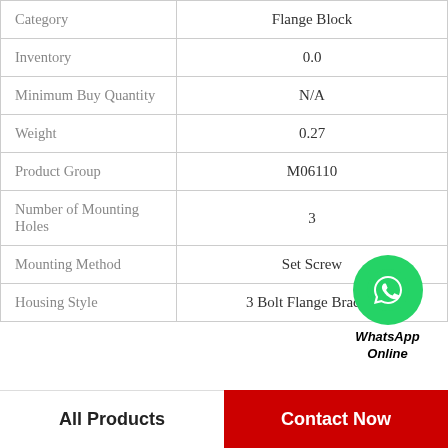| Attribute | Value |
| --- | --- |
| Category | Flange Block |
| Inventory | 0.0 |
| Minimum Buy Quantity | N/A |
| Weight | 0.27 |
| Product Group | M06110 |
| Number of Mounting Holes | 3 |
| Mounting Method | Set Screw |
| Housing Style | 3 Bolt Flange Bracket |
[Figure (logo): WhatsApp Online green circle icon with phone handset, with text 'WhatsApp Online' below in bold italic]
All Products
Contact Now